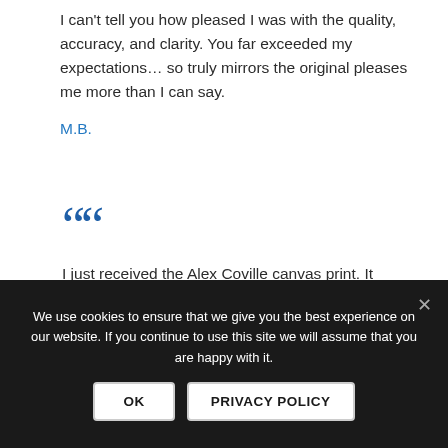I can't tell you how pleased I was with the quality, accuracy, and clarity. You far exceeded my expectations… so truly mirrors the original pleases me more than I can say.
M.B.
““
I just received the Alex Coville canvas print. It arrived in perfect condition… Thank you for the excellent work.
We use cookies to ensure that we give you the best experience on our website. If you continue to use this site we will assume that you are happy with it.